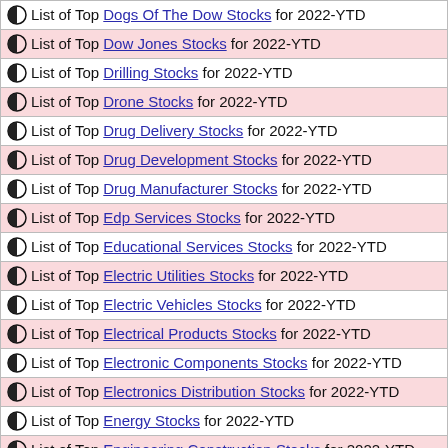List of Top Dogs Of The Dow Stocks for 2022-YTD
List of Top Dow Jones Stocks for 2022-YTD
List of Top Drilling Stocks for 2022-YTD
List of Top Drone Stocks for 2022-YTD
List of Top Drug Delivery Stocks for 2022-YTD
List of Top Drug Development Stocks for 2022-YTD
List of Top Drug Manufacturer Stocks for 2022-YTD
List of Top Edp Services Stocks for 2022-YTD
List of Top Educational Services Stocks for 2022-YTD
List of Top Electric Utilities Stocks for 2022-YTD
List of Top Electric Vehicles Stocks for 2022-YTD
List of Top Electrical Products Stocks for 2022-YTD
List of Top Electronic Components Stocks for 2022-YTD
List of Top Electronics Distribution Stocks for 2022-YTD
List of Top Energy Stocks for 2022-YTD
List of Top Engineering Construction Stocks for 2022-YTD
List of Top Environmental Services Stocks for 2022-YTD
List of Top Esq Stocks for 2022-YTD